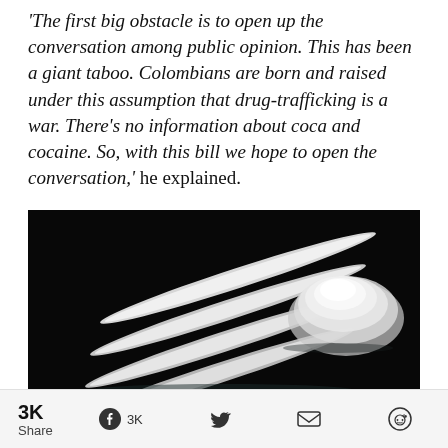'The first big obstacle is to open up the conversation among public opinion. This has been a giant taboo. Colombians are born and raised under this assumption that drug-trafficking is a war. There's no information about coca and cocaine. So, with this bill we hope to open the conversation,' he explained.
[Figure (photo): Close-up photo on black background showing four lines of white powder arranged diagonally, with a small pile of white powder to the right.]
3K Share   [Facebook] 3K   [Twitter]   [Email]   [Reddit]